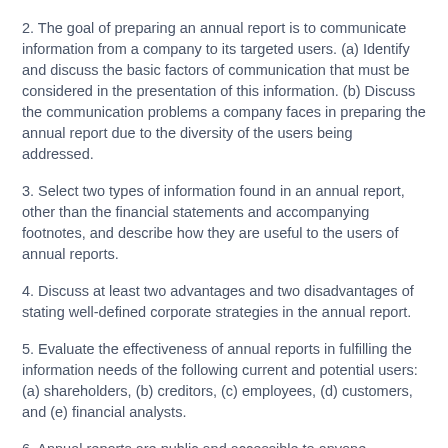2. The goal of preparing an annual report is to communicate information from a company to its targeted users. (a) Identify and discuss the basic factors of communication that must be considered in the presentation of this information. (b) Discuss the communication problems a company faces in preparing the annual report due to the diversity of the users being addressed.
3. Select two types of information found in an annual report, other than the financial statements and accompanying footnotes, and describe how they are useful to the users of annual reports.
4. Discuss at least two advantages and two disadvantages of stating well-defined corporate strategies in the annual report.
5. Evaluate the effectiveness of annual reports in fulfilling the information needs of the following current and potential users: (a) shareholders, (b) creditors, (c) employees, (d) customers, and (e) financial analysts.
6. Annual reports are public and accessible to anyone.